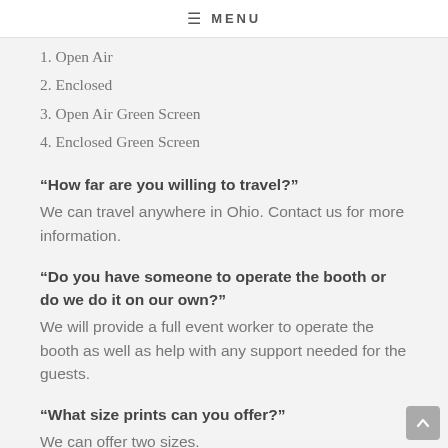≡ MENU
1. Open Air
2. Enclosed
3. Open Air Green Screen
4. Enclosed Green Screen
“How far are you willing to travel?”
We can travel anywhere in Ohio. Contact us for more information.
“Do you have someone to operate the booth or do we do it on our own?”
We will provide a full event worker to operate the booth as well as help with any support needed for the guests.
“What size prints can you offer?”
We can offer two sizes.
1. 4×6 (1 Picture/Page)
2. 2×6 (3 or 4 Pictures/Page)